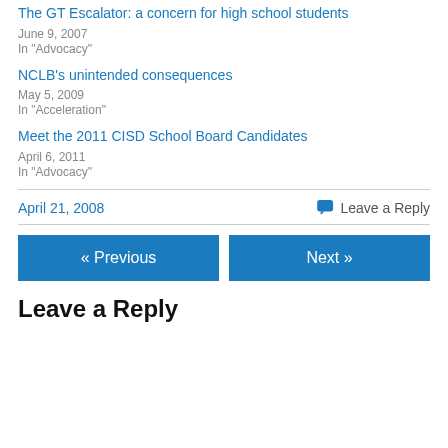The GT Escalator: a concern for high school students
June 9, 2007
In "Advocacy"
NCLB's unintended consequences
May 5, 2009
In "Acceleration"
Meet the 2011 CISD School Board Candidates
April 6, 2011
In "Advocacy"
April 21, 2008
Leave a Reply
« Previous
Next »
Leave a Reply